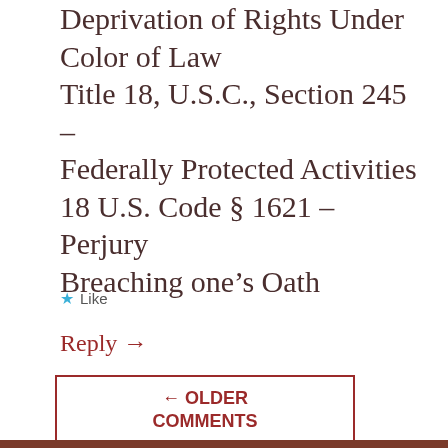Deprivation of Rights Under Color of Law
Title 18, U.S.C., Section 245 – Federally Protected Activities
18 U.S. Code § 1621 – Perjury
Breaching one's Oath
★ Like
Reply →
← OLDER COMMENTS